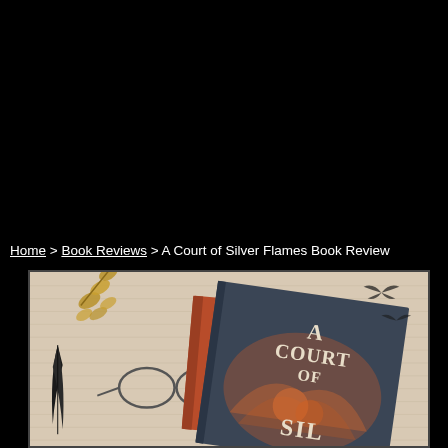Home > Book Reviews > A Court of Silver Flames Book Review
[Figure (photo): Photo of the book 'A Court of Silver Flames' with a dark navy/grey cover showing a phoenix design, placed on top of a red/orange book, surrounded by gold leaf decorations, glasses, a black feather, on a light textured background.]